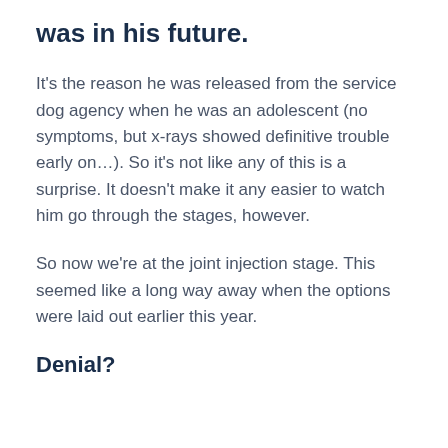was in his future.
It's the reason he was released from the service dog agency when he was an adolescent (no symptoms, but x-rays showed definitive trouble early on…). So it's not like any of this is a surprise. It doesn't make it any easier to watch him go through the stages, however.
So now we're at the joint injection stage. This seemed like a long way away when the options were laid out earlier this year.
Denial?